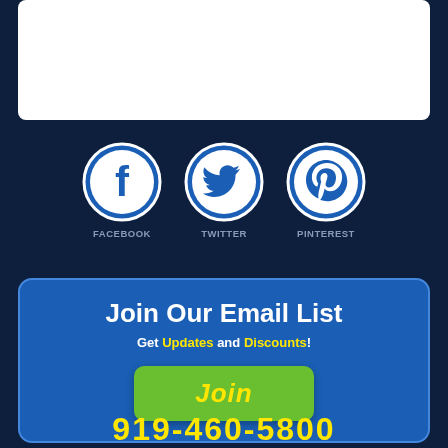[Figure (illustration): White rounded rectangle box at top of page]
[Figure (infographic): Three social media icons in circles: Facebook (F), Twitter (bird), Pinterest (P) with labels FACEBOOK, TWITTER, PINTEREST below each]
Join Our Email List
Get Updates and Discounts!
Join
919-460-5800